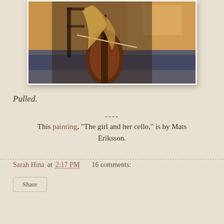[Figure (illustration): Painting of a girl playing a cello, dark warm tones with impressionist background, by Mats Eriksson. The figure's arms embrace a large dark brown cello with a bow. Background has orange, blue, and textured brushwork.]
Pulled.
----
This painting, "The girl and her cello," is by Mats Eriksson.
Sarah Hina at 2:17 PM   16 comments:
Share